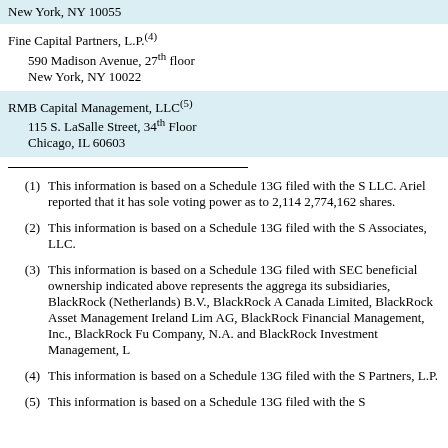New York, NY 10055
Fine Capital Partners, L.P.(4)
590 Madison Avenue, 27th floor
New York, NY 10022
RMB Capital Management, LLC(5)
115 S. LaSalle Street, 34th Floor
Chicago, IL 60603
(1) This information is based on a Schedule 13G filed with the S... LLC. Ariel reported that it has sole voting power as to 2,114... 2,774,162 shares.
(2) This information is based on a Schedule 13G filed with the S... Associates, LLC.
(3) This information is based on a Schedule 13G filed with SEC... beneficial ownership indicated above represents the aggrega... its subsidiaries, BlackRock (Netherlands) B.V., BlackRock A... Canada Limited, BlackRock Asset Management Ireland Lim... AG, BlackRock Financial Management, Inc., BlackRock Fu... Company, N.A. and BlackRock Investment Management, L...
(4) This information is based on a Schedule 13G filed with the S... Partners, L.P.
(5) This information is based on a Schedule 13G filed with the S...